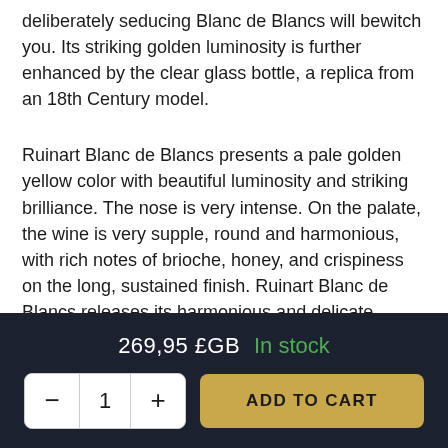deliberately seducing Blanc de Blancs will bewitch you. Its striking golden luminosity is further enhanced by the clear glass bottle, a replica from an 18th Century model.
Ruinart Blanc de Blancs presents a pale golden yellow color with beautiful luminosity and striking brilliance. The nose is very intense. On the palate, the wine is very supple, round and harmonious, with rich notes of brioche, honey, and crispiness on the long, sustained finish. Ruinart Blanc de Blancs releases its harmonious and delicate freshness when it is drunk cold, around 8 to 9 degrees.
Ruinart Brut Rosé Champagne is a blend of 55% Pinot Noir and 45% Chardonnay entirely from Grand and Premier Cru vineyards. About 18% of the Pinot is vinified red and blended
269,95 £GB  In stock
ADD TO CART